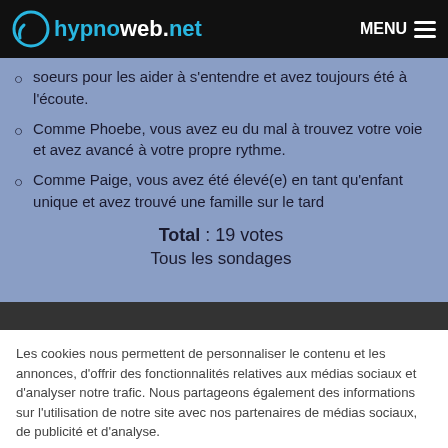hypnoweb.net  MENU
soeurs pour les aider à s'entendre et avez toujours été à l'écoute.
Comme Phoebe, vous avez eu du mal à trouvez votre voie et avez avancé à votre propre rythme.
Comme Paige, vous avez été élevé(e) en tant qu'enfant unique et avez trouvé une famille sur le tard
Total : 19 votes
Tous les sondages
Les cookies nous permettent de personnaliser le contenu et les annonces, d'offrir des fonctionnalités relatives aux médias sociaux et d'analyser notre trafic. Nous partageons également des informations sur l'utilisation de notre site avec nos partenaires de médias sociaux, de publicité et d'analyse.
OK, j'ai compris